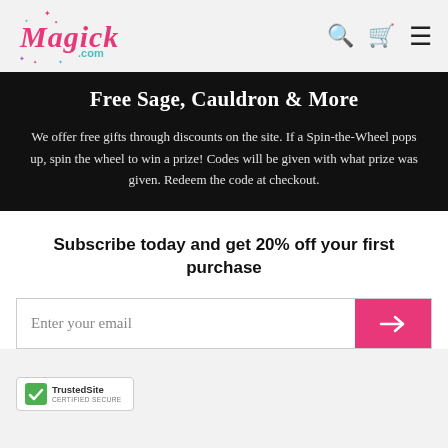Magick.com
Free Sage, Cauldron & More
We offer free gifts through discounts on the site. If a Spin-the-Wheel pops up, spin the wheel to win a prize! Codes will be given with what prize was given. Redeem the code at checkout.
Subscribe today and get 20% off your first purchase
Enter your email